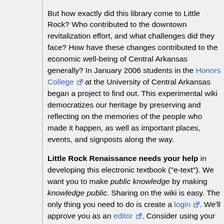But how exactly did this library come to Little Rock? Who contributed to the downtown revitalization effort, and what challenges did they face? How have these changes contributed to the economic well-being of Central Arkansas generally? In January 2006 students in the Honors College at the University of Central Arkansas began a project to find out. This experimental wiki democratizes our heritage by preserving and reflecting on the memories of the people who made it happen, as well as important places, events, and signposts along the way.
Little Rock Renaissance needs your help in developing this electronic textbook ("e-text"). We want you to make public knowledge by making knowledge public. Sharing on the wiki is easy. The only thing you need to do is create a login. We'll approve you as an editor. Consider using your real name as a username; we want to credit your contributions on the front page, and we want you to see the pictures. Or simply browse through the wiki and be amazed at what you didn't know about the rebirth of the